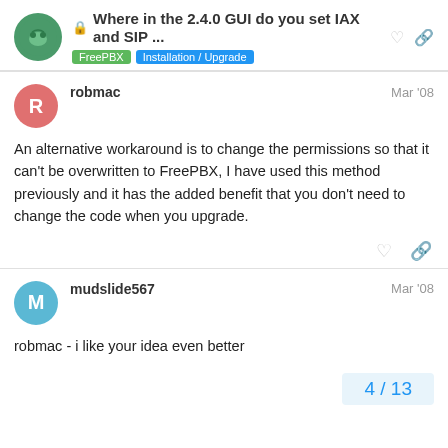Where in the 2.4.0 GUI do you set IAX and SIP ... | FreePBX | Installation / Upgrade
robmac — Mar '08

An alternative workaround is to change the permissions so that it can't be overwritten to FreePBX, I have used this method previously and it has the added benefit that you don't need to change the code when you upgrade.
mudslide567 — Mar '08

robmac - i like your idea even better
4 / 13